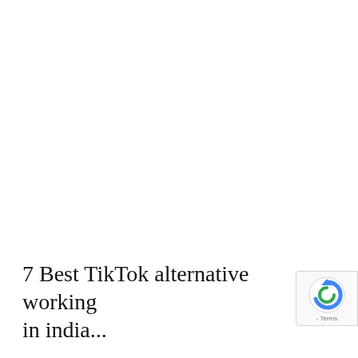7 Best TikTok alternative working in india...
[Figure (logo): Google reCAPTCHA badge with blue arrow icon and Terms label]